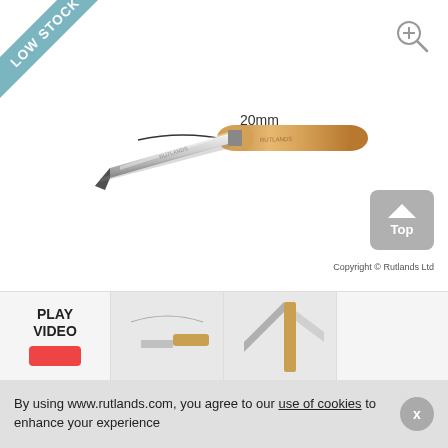[Figure (photo): A woodworking chisel or turning tool with a wooden handle and silver metal blade, shown diagonally. Has a 20mm dimension indicator at the top. 'LOW STOCK' banner in top-left corner. A magnifying glass zoom icon in top-right, and a right-arrow navigation icon on the right side.]
20mm
[Figure (photo): Bottom thumbnail strip showing PLAY VIDEO button with red play bar, and two smaller thumbnail images of the tool.]
PLAY VIDEO
Copyright © Rutlands Ltd
By using www.rutlands.com, you agree to our use of cookies to enhance your experience